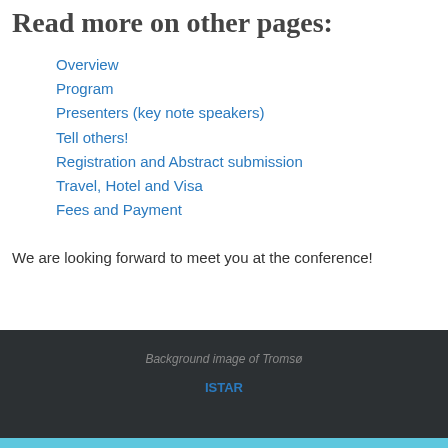Read more on other pages:
Overview
Program
Presenters (key note speakers)
Tell others!
Registration and Abstract submission
Travel, Hotel and Visa
Fees and Payment
We are looking forward to meet you at the conference!
Background image of Tromsø
ISTAR